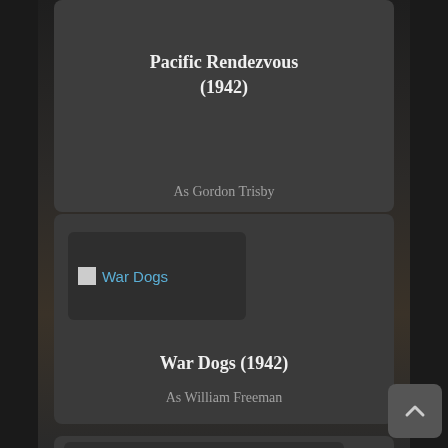Pacific Rendezvous (1942)
As Gordon Trisby
[Figure (screenshot): Broken image placeholder for War Dogs with alt text 'War Dogs' in blue]
War Dogs (1942)
As William Freeman
[Figure (screenshot): Broken image placeholder for Friendly with alt text 'Friendly' in blue, partially visible]